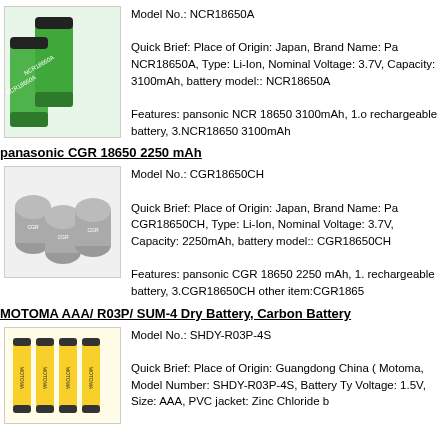[Figure (photo): Two green cylindrical Panasonic NCR18650A lithium-ion batteries]
Model No.: NCR18650A

Quick Brief: Place of Origin: Japan, Brand Name: Pa NCR18650A, Type: Li-Ion, Nominal Voltage: 3.7V, Capacity: 3100mAh, battery model:: NCR18650A

Features: pansonic NCR 18650 3100mAh, 1.o rechargeable battery, 3.NCR18650 3100mAh
panasonic CGR 18650 2250 mAh
[Figure (photo): Gray cylindrical Panasonic CGR18650CH lithium-ion batteries stacked together]
Model No.: CGR18650CH

Quick Brief: Place of Origin: Japan, Brand Name: Pa CGR18650CH, Type: Li-Ion, Nominal Voltage: 3.7V, Capacity: 2250mAh, battery model:: CGR18650CH

Features: pansonic CGR 18650 2250 mAh, 1. rechargeable battery, 3.CGR18650CH other item:CGR1865
MOTOMA AAA/ R03P/ SUM-4 Dry Battery, Carbon Battery
[Figure (photo): Four yellow Motoma AAA dry batteries]
Model No.: SHDY-R03P-4S

Quick Brief: Place of Origin: Guangdong China ( Motoma, Model Number: SHDY-R03P-4S, Battery Ty Voltage: 1.5V, Size: AAA, PVC jacket: Zinc Chloride b